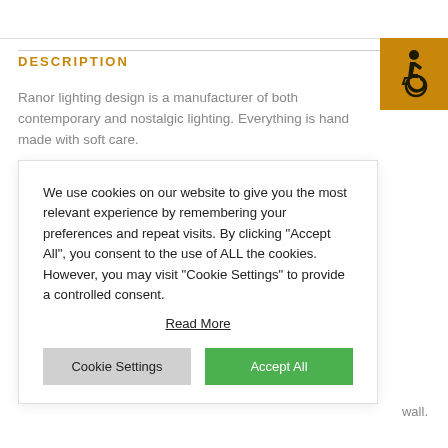DESCRIPTION
[Figure (illustration): Wheelchair accessibility icon in white on orange/gold background square]
Ranor lighting design is a manufacturer of both contemporary and nostalgic lighting. Everything is hand made with soft care.
We use cookies on our website to give you the most relevant experience by remembering your preferences and repeat visits. By clicking “Accept All”, you consent to the use of ALL the cookies. However, you may visit “Cookie Settings” to provide a controlled consent.
Read More
wall.